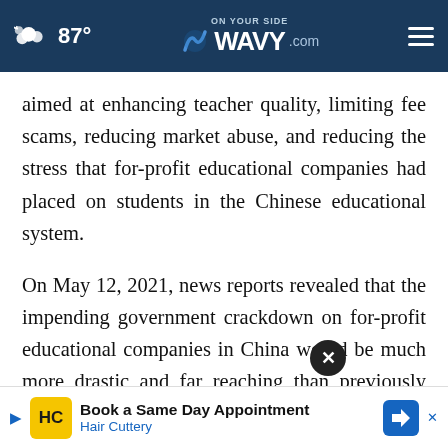87° WAVY.com ON YOUR SIDE
aimed at enhancing teacher quality, limiting fee scams, reducing market abuse, and reducing the stress that for-profit educational companies had placed on students in the Chinese educational system.
On May 12, 2021, news reports revealed that the impending government crackdown on for-profit educational companies in China would be much more drastic and far reaching than previously publi...ated
[Figure (screenshot): Advertisement banner: Book a Same Day Appointment - Hair Cuttery, with HC logo and navigation arrow icon]